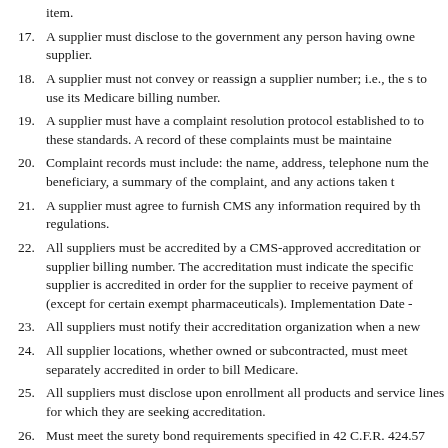item.
17. A supplier must disclose to the government any person having ownership or control interest in the supplier.
18. A supplier must not convey or reassign a supplier number; i.e., the supplier has the exclusive right to use its Medicare billing number.
19. A supplier must have a complaint resolution protocol established to address complaints related to these standards. A record of these complaints must be maintained.
20. Complaint records must include: the name, address, telephone number and health insurance claim number of the beneficiary, a summary of the complaint, and any actions taken to resolve it.
21. A supplier must agree to furnish CMS any information required by the Medicare statute and regulations.
22. All suppliers must be accredited by a CMS-approved accreditation organization in order to receive a supplier billing number. The accreditation must indicate the specific products and services for which the supplier is accredited in order for the supplier to receive payment of those specific products and services (except for certain exempt pharmaceuticals). Implementation Date -
23. All suppliers must notify their accreditation organization when a new location is opened.
24. All supplier locations, whether owned or subcontracted, must meet the applicable DMEPOS standards and be separately accredited in order to bill Medicare.
25. All suppliers must disclose upon enrollment all products and services, including the addition of new product lines for which they are seeking accreditation.
26. Must meet the surety bond requirements specified in 42 C.F.R. 424.57.
27. A supplier must obtain oxygen from a state- licensed oxygen supplier.
28. A supplier must maintain ordering and referring documentation as required by CMS.